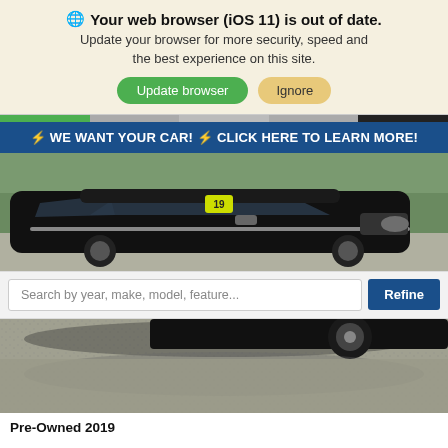🌐 Your web browser (iOS 11) is out of date. Update your browser for more security, speed and the best experience on this site.
Update browser | Ignore
⚡ WE WANT YOUR CAR! ⚡ CLICK HERE TO LEARN MORE!
[Figure (photo): Photo of a black Chrysler 300 sedan in a parking lot, with a yellow '19' price sticker on the windshield]
Search by year, make, model, feature...
[Figure (photo): Bottom portion of black Chrysler 300, showing rear wheel and asphalt parking lot]
Pre-Owned 2019